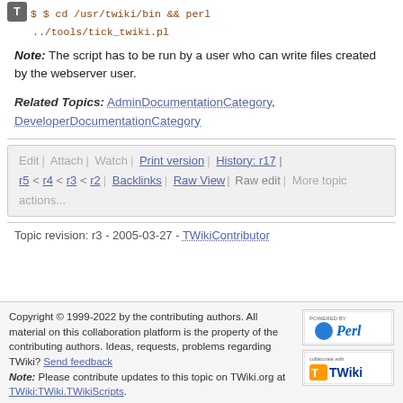$ $ cd /usr/twiki/bin && perl ../tools/tick_twiki.pl
Note: The script has to be run by a user who can write files created by the webserver user.
Related Topics: AdminDocumentationCategory, DeveloperDocumentationCategory
Edit | Attach | Watch | Print version | History: r17 | r5 < r4 < r3 < r2 | Backlinks | Raw View | Raw edit | More topic actions...
Topic revision: r3 - 2005-03-27 - TWikiContributor
Copyright © 1999-2022 by the contributing authors. All material on this collaboration platform is the property of the contributing authors. Ideas, requests, problems regarding TWiki? Send feedback Note: Please contribute updates to this topic on TWiki.org at TWiki:TWiki.TWikiScripts.